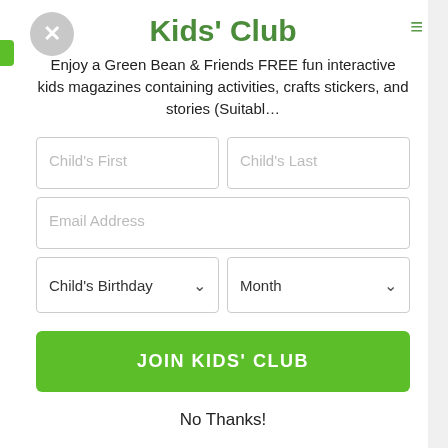Kids' Club
Enjoy a Green Bean & Friends FREE fun interactive kids magazines containing activities, crafts stickers, and stories (Suitabl…
[Figure (screenshot): Web form modal with fields: Child's First, Child's Last, Email Address, Child's Birthday dropdown, Month dropdown, JOIN KIDS' CLUB button, and No Thanks link]